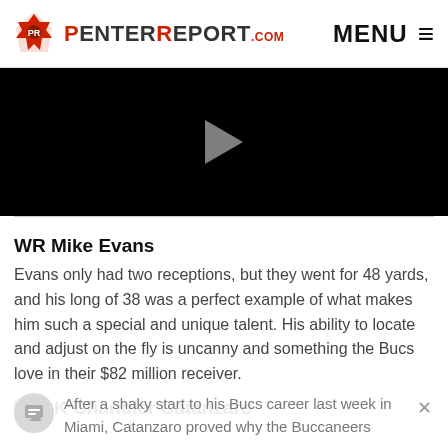PenterReport.com — MENU
[Figure (other): Black video player thumbnail with play button]
WR Mike Evans
Evans only had two receptions, but they went for 48 yards, and his long of 38 was a perfect example of what makes him such a special and unique talent. His ability to locate and adjust on the fly is uncanny and something the Bucs love in their $82 million receiver.
24 K Chandler Catanzaro
After a shaky start to his Bucs career last week in Miami, Catanzaro proved why the Buccaneers